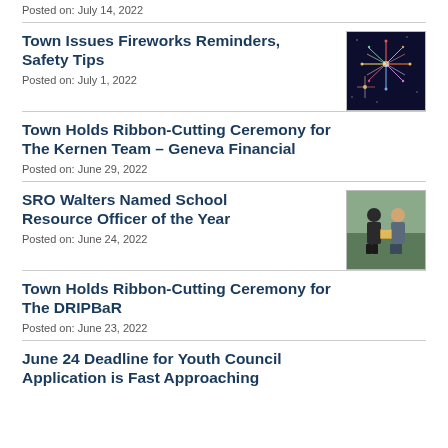Posted on: July 14, 2022
Town Issues Fireworks Reminders, Safety Tips
Posted on: July 1, 2022
Town Holds Ribbon-Cutting Ceremony for The Kernen Team – Geneva Financial
Posted on: June 29, 2022
SRO Walters Named School Resource Officer of the Year
Posted on: June 24, 2022
Town Holds Ribbon-Cutting Ceremony for The DRIPBaR
Posted on: June 23, 2022
June 24 Deadline for Youth Council Application is Fast Approaching